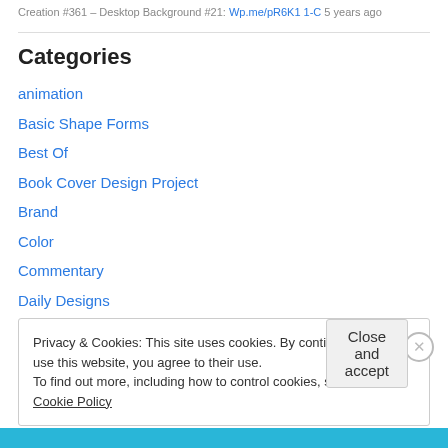Creation #361 - Desktop Background #21: Wp.me/pR6K1 1-C 5 years ago
Categories
animation
Basic Shape Forms
Best Of
Book Cover Design Project
Brand
Color
Commentary
Daily Designs
Privacy & Cookies: This site uses cookies. By continuing to use this website, you agree to their use.
To find out more, including how to control cookies, see here: Cookie Policy
Close and accept